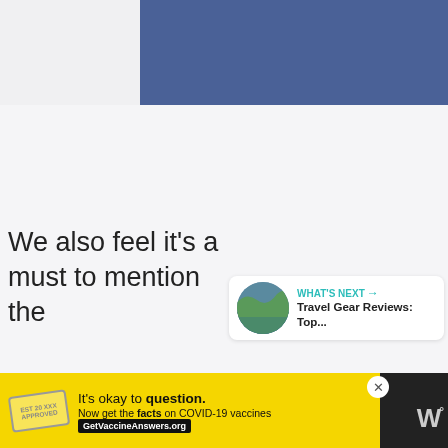[Figure (screenshot): Blue banner/header image area]
[Figure (infographic): Social interaction buttons: heart/like button with teal background, count showing 1, share button]
[Figure (screenshot): What's Next panel showing Travel Gear Reviews: Top... with a thumbnail image of a river/stream scene]
We also feel it's a must to mention the
[Figure (screenshot): Advertisement bar: It's okay to question. Now get the facts on COVID-19 vaccines GetVaccineAnswers.org]
[Figure (logo): Weather channel logo with W and degree symbol]